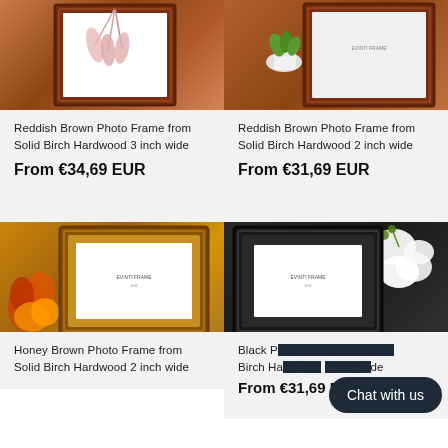[Figure (photo): Reddish brown photo frame with pampas grass inside, top-left product]
[Figure (photo): Reddish brown photo frame with small plant beside it, top-right product]
Reddish Brown Photo Frame from Solid Birch Hardwood 3 inch wide
From €34,69 EUR
Reddish Brown Photo Frame from Solid Birch Hardwood 2 inch wide
From €31,69 EUR
[Figure (photo): Honey brown wooden photo frame with autumn flowers decoration]
[Figure (photo): Black photo frame with white orchid flowers beside it]
Honey Brown Photo Frame from Solid Birch Hardwood 2 inch wide
Black Photo Frame from Solid Birch Hardwood [obscured] wide
From €31,69 EUR
Chat with us